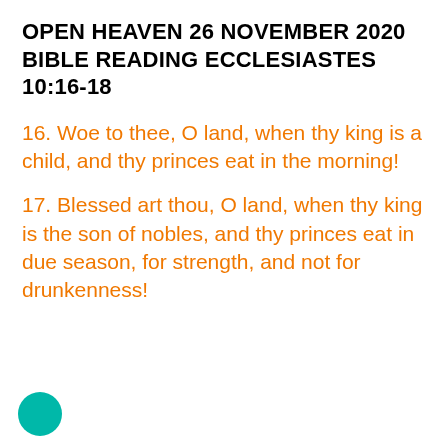OPEN HEAVEN 26 NOVEMBER 2020 BIBLE READING ECCLESIASTES 10:16-18
16. Woe to thee, O land, when thy king is a child, and thy princes eat in the morning!
17. Blessed art thou, O land, when thy king is the son of nobles, and thy princes eat in due season, for strength, and not for drunkenness!